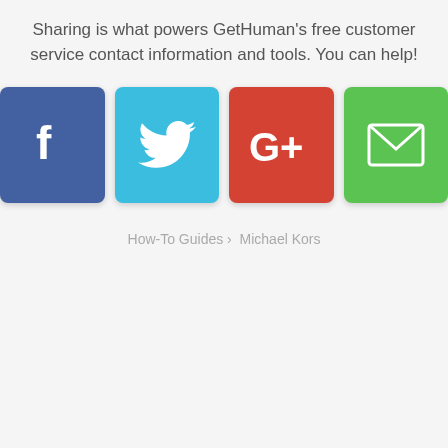Sharing is what powers GetHuman's free customer service contact information and tools. You can help!
[Figure (infographic): Four social sharing buttons: Facebook (blue), Twitter (light blue), Google+ (red), Email (green)]
How-To Guides › Michael Kors